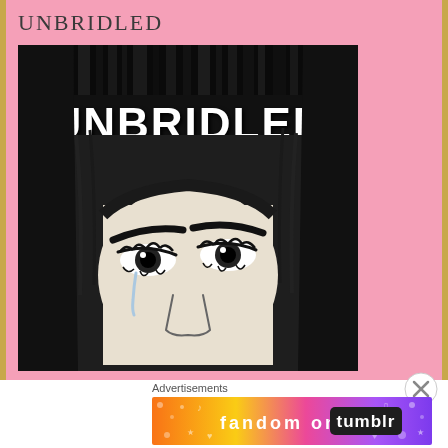UNBRIDLED
[Figure (illustration): Book cover for 'UNBRIDLED' showing a black and white illustration of a woman's face partially hidden by long dark hair, with the title 'UNBRIDLED' in bold white letters at the top against dark dripping paint/hair streaks. The face shows dramatic eyes with heavy lashes and brows.]
Advertisements
[Figure (other): Advertisement banner for 'FANDOM ON tumblr' with colorful gradient background featuring orange, yellow, pink, and purple colors with decorative icons (music notes, hearts, stars). White text reads 'fandom on' and 'tumblr' in stylized fonts.]